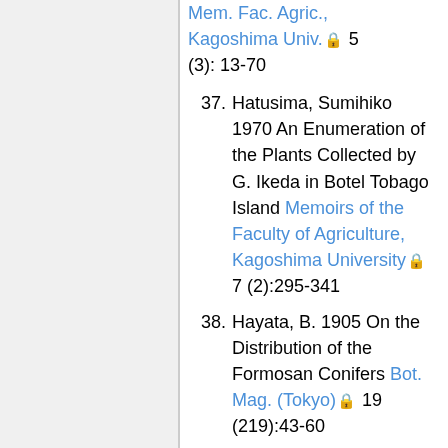Mem. Fac. Agric., Kagoshima Univ. 5 (3): 13-70
37. Hatusima, Sumihiko 1970 An Enumeration of the Plants Collected by G. Ikeda in Botel Tobago Island Memoirs of the Faculty of Agriculture, Kagoshima University 7 (2):295-341
38. Hayata, B. 1905 On the Distribution of the Formosan Conifers Bot. Mag. (Tokyo) 19 (219):43-60